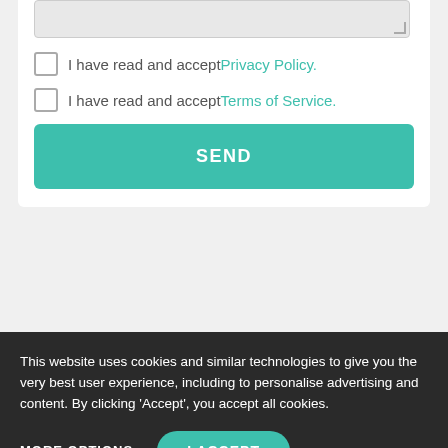I have read and accept Privacy Policy.
I have read and accept Terms of Service.
SEND
This website uses cookies and similar technologies to give you the very best user experience, including to personalise advertising and content. By clicking 'Accept', you accept all cookies.
MORE OPTIONS
I ACCEPT